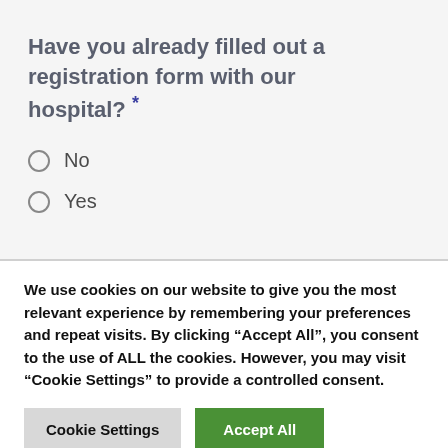Have you already filled out a registration form with our hospital? *
No
Yes
We use cookies on our website to give you the most relevant experience by remembering your preferences and repeat visits. By clicking “Accept All”, you consent to the use of ALL the cookies. However, you may visit "Cookie Settings" to provide a controlled consent.
Cookie Settings | Accept All